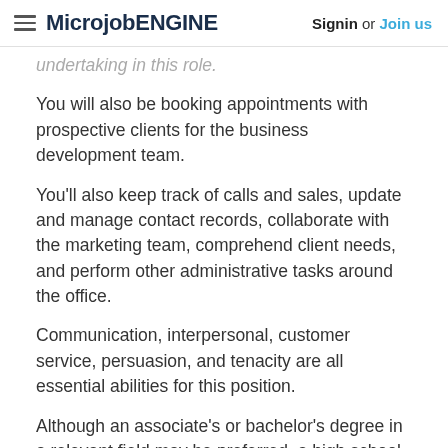MicrojobENGINE  Signin or Join us
undertaking in this role.
You will also be booking appointments with prospective clients for the business development team.
You'll also keep track of calls and sales, update and manage contact records, collaborate with the marketing team, comprehend client needs, and perform other administrative tasks around the office.
Communication, interpersonal, customer service, persuasion, and tenacity are all essential abilities for this position.
Although an associate's or bachelor's degree in a relevant field may be preferred, a high school certificate or GED will qualify as educational prerequisites.